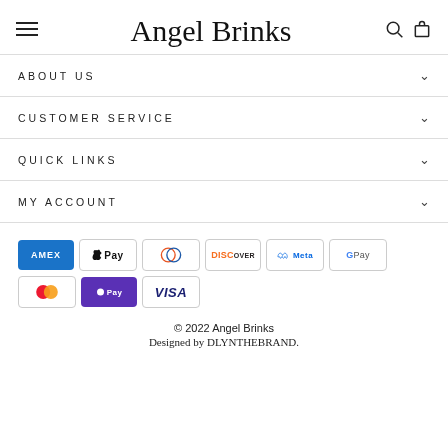Angel Brinks
ABOUT US
CUSTOMER SERVICE
QUICK LINKS
MY ACCOUNT
[Figure (other): Payment method icons: AMEX, Apple Pay, Diners Club, Discover, Meta, Google Pay, Mastercard, ShopPay, Visa]
© 2022 Angel Brinks
Designed by DLYNTHEBRAND.